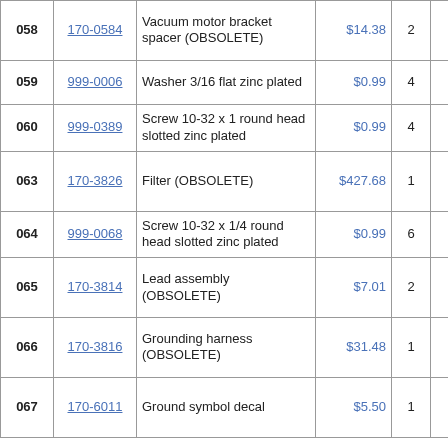| # | Part | Description | Price | Qty |  | Shipping |
| --- | --- | --- | --- | --- | --- | --- |
| 058 | 170-0584 | Vacuum motor bracket spacer (OBSOLETE) | $14.38 | 2 |  | usually ships days |
| 059 | 999-0006 | Washer 3/16 flat zinc plated | $0.99 | 4 |  | ships same |
| 060 | 999-0389 | Screw 10-32 x 1 round head slotted zinc plated | $0.99 | 4 |  | ships same |
| 063 | 170-3826 | Filter (OBSOLETE) | $427.68 | 1 |  | usually ships days |
| 064 | 999-0068 | Screw 10-32 x 1/4 round head slotted zinc plated | $0.99 | 6 |  | ships same |
| 065 | 170-3814 | Lead assembly (OBSOLETE) | $7.01 | 2 |  | usually ships days |
| 066 | 170-3816 | Grounding harness (OBSOLETE) | $31.48 | 1 |  | usually ships days |
| 067 | 170-6011 | Ground symbol decal | $5.50 | 1 |  | usually ships days |